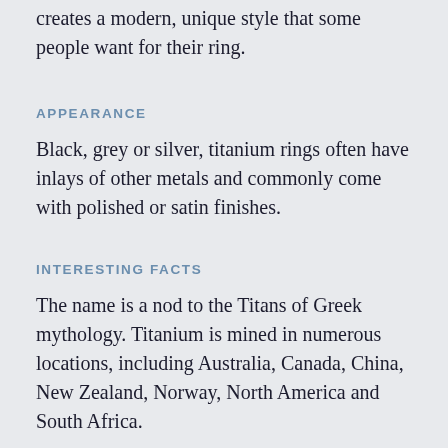creates a modern, unique style that some people want for their ring.
APPEARANCE
Black, grey or silver, titanium rings often have inlays of other metals and commonly come with polished or satin finishes.
INTERESTING FACTS
The name is a nod to the Titans of Greek mythology. Titanium is mined in numerous locations, including Australia, Canada, China, New Zealand, Norway, North America and South Africa.
PURITY
Titanium jewelry doesn’t include alloys and is